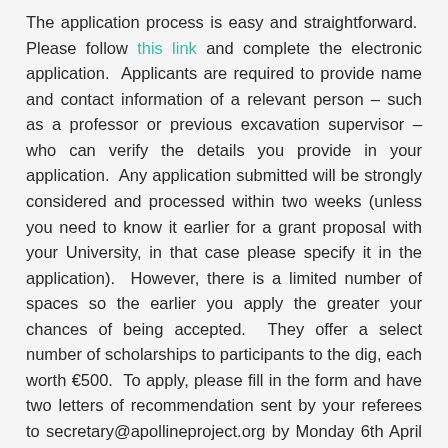The application process is easy and straightforward. Please follow this link and complete the electronic application. Applicants are required to provide name and contact information of a relevant person – such as a professor or previous excavation supervisor – who can verify the details you provide in your application. Any application submitted will be strongly considered and processed within two weeks (unless you need to know it earlier for a grant proposal with your University, in that case please specify it in the application). However, there is a limited number of spaces so the earlier you apply the greater your chances of being accepted. They offer a select number of scholarships to participants to the dig, each worth €500. To apply, please fill in the form and have two letters of recommendation sent by your referees to secretary@apollineproject.org by Monday 6th April 2015.
For international participants to the fieldwork and lab work in Pollena Trocchia, accommodation will be provided at Cappabianca – a late 19th-century palazzo only a short walk from